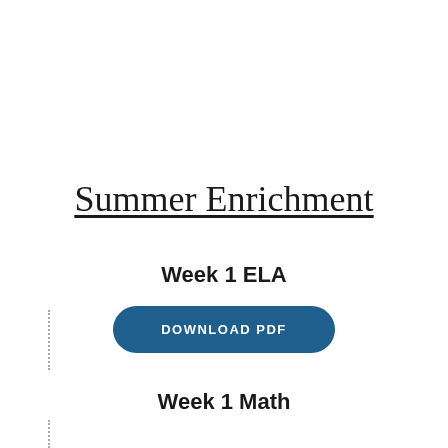Summer Enrichment
Week 1 ELA
DOWNLOAD PDF
Week 1 Math